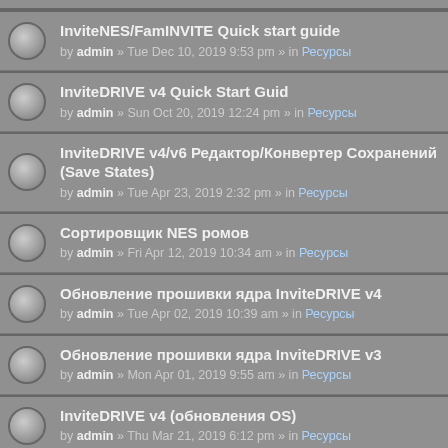InviteNES/FamINVITE Quick start guide by admin » Tue Dec 10, 2019 9:53 pm » in Ресурсы
InviteDRIVE v4 Quick Start Guid by admin » Sun Oct 20, 2019 12:24 pm » in Ресурсы
InviteDRIVE v4/v6 Редактор/Конвертер Сохранений (Save States) by admin » Tue Apr 23, 2019 2:32 pm » in Ресурсы
Сортировщик NES ромов by admin » Fri Apr 12, 2019 10:34 am » in Ресурсы
Обновление прошивки ядра InviteDRIVE v4 by admin » Tue Apr 02, 2019 10:39 am » in Ресурсы
Обновление прошивки ядра InviteDRIVE v3 by admin » Mon Apr 01, 2019 9:55 am » in Ресурсы
InviteDRIVE v4 (обновления OS) by admin » Thu Mar 21, 2019 6:12 pm » in Ресурсы
InviteDRIVE v6 (обновления OS) by admin » Mon Mar 04, 2019 2:57 pm » in Ресурсы